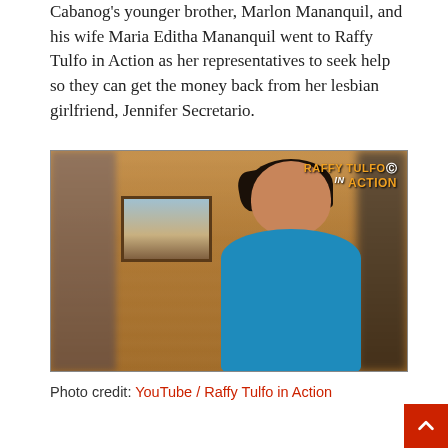Cabanog's younger brother, Marlon Mananquil, and his wife Maria Editha Mananquil went to Raffy Tulfo in Action as her representatives to seek help so they can get the money back from her lesbian girlfriend, Jennifer Secretario.
[Figure (photo): A woman wearing a blue top standing indoors against a wooden wall background, with a painting visible behind her. A 'Raffy Tulfo in Action' watermark appears in the upper right corner.]
Photo credit: YouTube / Raffy Tulfo in Action